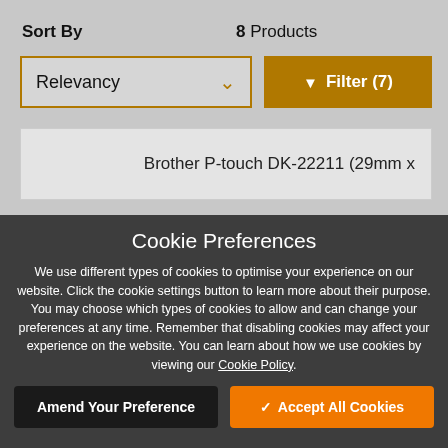Sort By
8 Products
Relevancy
Filter (7)
Brother P-touch DK-22211 (29mm x
Cookie Preferences
We use different types of cookies to optimise your experience on our website. Click the cookie settings button to learn more about their purpose. You may choose which types of cookies to allow and can change your preferences at any time. Remember that disabling cookies may affect your experience on the website. You can learn about how we use cookies by viewing our Cookie Policy.
Amend Your Preference
Accept All Cookies